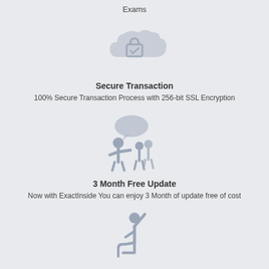Exams
[Figure (illustration): Cloud with lock and checkmark icon representing secure transaction]
Secure Transaction
100% Secure Transaction Process with 256-bit SSL Encryption
[Figure (illustration): Instructor pointing to group of people with speech bubble, representing 3 month free update support]
3 Month Free Update
Now with ExactInside You can enjoy 3 Month of update free of cost
[Figure (illustration): Person seated raising arm in satisfaction, representing satisfied customers]
Our Satisfied Customers
More than 50K Satisfied Customers with our Exclusive Products